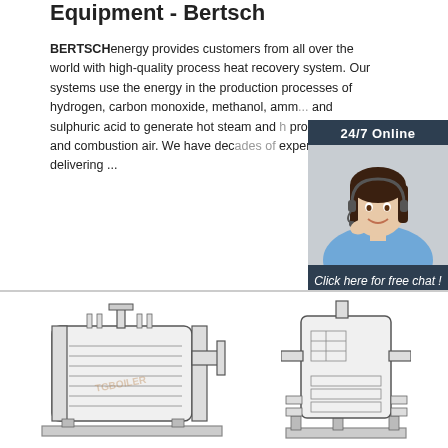Equipment - Bertsch
BERTSCHenergy provides customers from all over the world with high-quality process heat recovery system. Our systems use the energy in the production processes of hydrogen, carbon monoxide, methanol, ammonia and sulphuric acid to generate hot steam and heat process gas and combustion air. We have decades of experience in delivering ...
[Figure (photo): Customer support representative with headset, smiling, with '24/7 Online' label and 'Click here for free chat!' call to action, and QUOTATION button]
[Figure (engineering-diagram): Two industrial boiler/heat recovery equipment schematic diagrams shown side by side with watermark TGBOILER]